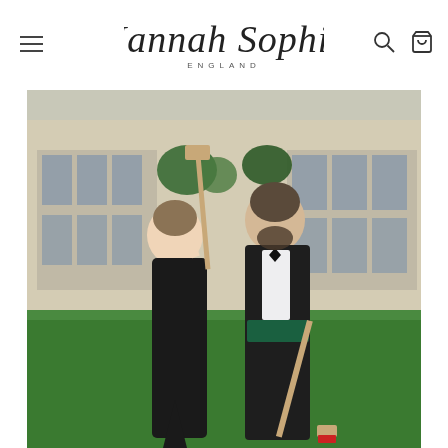Hannah Sophia ENGLAND — navigation header with hamburger menu, logo, search and cart icons
[Figure (photo): A man and woman in formal black attire standing on a lawn in front of a grand building. The woman wears a black off-shoulder gown and holds a croquet mallet. The man wears a black tuxedo with a green cummerbund and bow tie, also holding a croquet mallet. Both have serious expressions.]